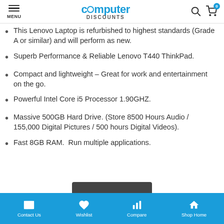MENU | computer DISCOUNTS
This Lenovo Laptop is refurbished to highest standards (Grade A or similar) and will perform as new.
Superb Performance & Reliable Lenovo T440 ThinkPad.
Compact and lightweight – Great for work and entertainment on the go.
Powerful Intel Core i5 Processor 1.90GHZ.
Massive 500GB Hard Drive. (Store 8500 Hours Audio / 155,000 Digital Pictures / 500 hours Digital Videos).
Fast 8GB RAM.  Run multiple applications.
[Figure (photo): Partial view of laptop at bottom of page]
Contact Us | Wishlist | Compare | Shop Home